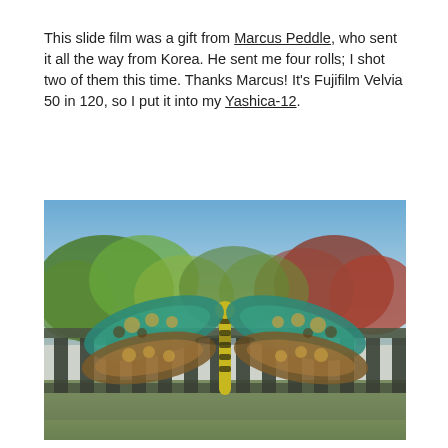This slide film was a gift from Marcus Peddle, who sent it all the way from Korea. He sent me four rolls; I shot two of them this time. Thanks Marcus! It's Fujifilm Velvia 50 in 120, so I put it into my Yashica-12.
[Figure (photo): A decorative dragonfly ornament with teal, brown, and yellow colors, perched on a wooden deck railing. Blurred background shows trees and blue sky.]